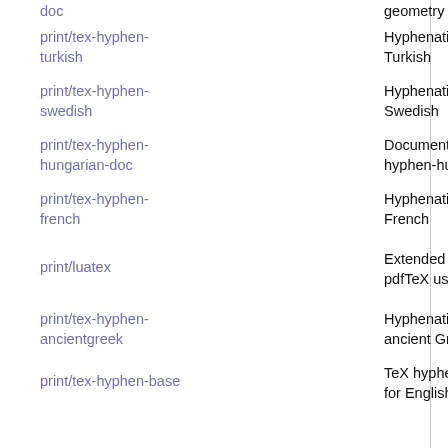| Package | Description |
| --- | --- |
| doc | geometry |
| print/tex-hyphen-turkish | Hyphenation pa... Turkish |
| print/tex-hyphen-swedish | Hyphenation pa... Swedish |
| print/tex-hyphen-hungarian-doc | Documentation hyphen-hungarian |
| print/tex-hyphen-french | Hyphenation pa... French |
| print/luatex | Extended vers... pdfTeX using Lua... |
| print/tex-hyphen-ancientgreek | Hyphenation pa... ancient Greek |
| print/tex-hyphen-base | TeX hyphenation... for English |
| print/tex-soul | Hyphenation letterspacing, u... and more |
| print/tex-ptex | TeX system for ... in Japanese |
|  | LaTeX package t... |